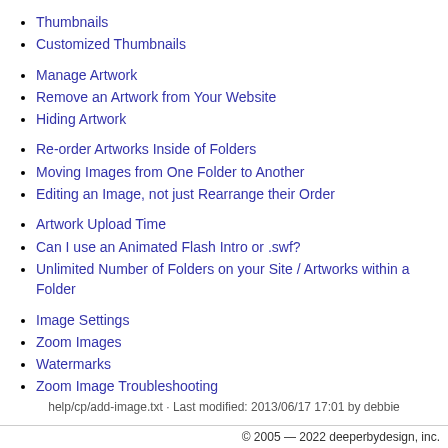Thumbnails
Customized Thumbnails
Manage Artwork
Remove an Artwork from Your Website
Hiding Artwork
Re-order Artworks Inside of Folders
Moving Images from One Folder to Another
Editing an Image, not just Rearrange their Order
Artwork Upload Time
Can I use an Animated Flash Intro or .swf?
Unlimited Number of Folders on your Site / Artworks within a Folder
Image Settings
Zoom Images
Watermarks
Zoom Image Troubleshooting
help/cp/add-image.txt · Last modified: 2013/06/17 17:01 by debbie
© 2005 — 2022 deeperbydesign, inc.